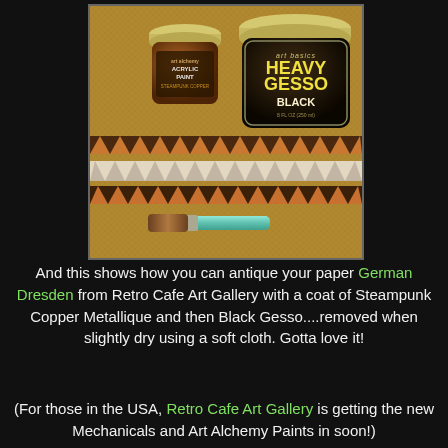[Figure (photo): Photo of craft supplies: a small jar of Finnabair Art Alchemy Acrylic Paint in Steampunk Copper, a larger jar of Art Basics Heavy Gesso in Black, decorative paper German Dresden lace strips, and a flat paintbrush, arranged on a burlap surface.]
And this shows how you can antique your paper German Dresden from Retro Cafe Art Gallery with a coat of Steampunk Copper Metallique and then Black Gesso....removed when slightly dry using a soft cloth. Gotta love it!
(For those in the USA, Retro Cafe Art Gallery is getting the new Mechanicals and Art Alchemy Paints in soon!)